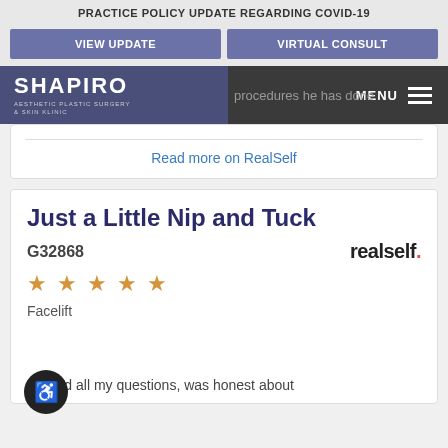PRACTICE POLICY UPDATE REGARDING COVID-19
VIEW UPDATE
VIRTUAL CONSULT
[Figure (logo): Shapiro Aesthetic Plastic Surgery & Skin Clinic logo in white text on purple/slate background]
procedures he has done
MENU
Read more on RealSelf
Just a Little Nip and Tuck
G32868
[Figure (logo): realself. logo in bold black text with red period]
★ ★ ★ ★ ★
Facelift
swered all my questions, was honest about